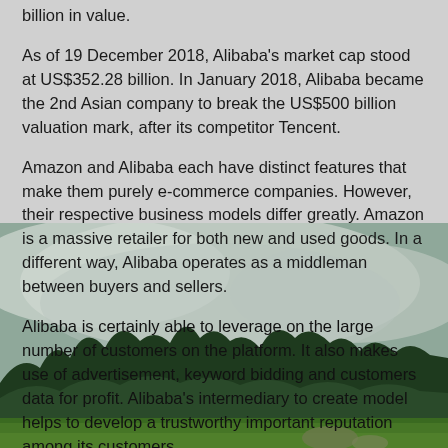billion in value.
As of 19 December 2018, Alibaba's market cap stood at US$352.28 billion. In January 2018, Alibaba became the 2nd Asian company to break the US$500 billion valuation mark, after its competitor Tencent.
Amazon and Alibaba each have distinct features that make them purely e-commerce companies. However, their respective business models differ greatly. Amazon is a massive retailer for both new and used goods. In a different way, Alibaba operates as a middleman between buyers and sellers.
[Figure (photo): Blurred background image of a forested mountain landscape with green trees and misty clouds]
Alibaba is certainly able to leverage on the large number of customers on the platform. It also makes use of advertisement, keyword bidding and customers data for profit. Alibaba's intermediary to create model helps to develop a trustworthy important reputation among its customers.
Besides there are many platforms of Alibaba, Aliexpress,